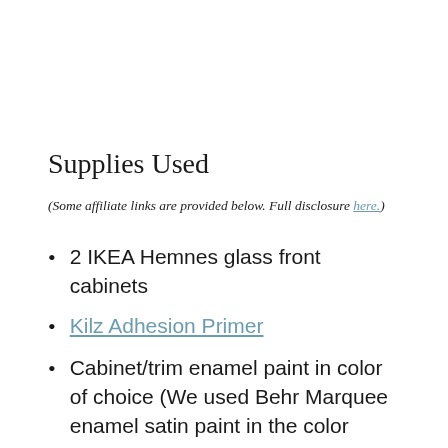Supplies Used
(Some affiliate links are provided below. Full disclosure here.)
2 IKEA Hemnes glass front cabinets
Kilz Adhesion Primer
Cabinet/trim enamel paint in color of choice (We used Behr Marquee enamel satin paint in the color Sherwin Williams Billiard to match our lower kitchen